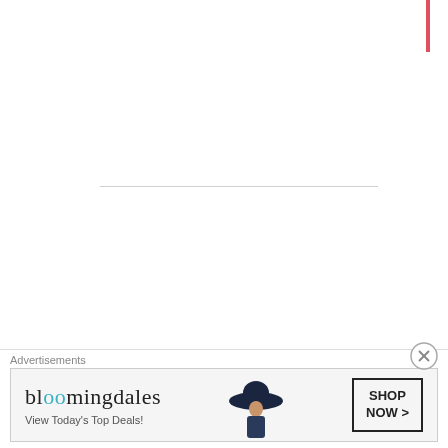[Figure (logo): Red vertical bar accent in top right corner]
[Figure (logo): Green decorative diamond/grid avatar icon for user Vuilnis]
Vuilnis · February 10, 2020
I'm glad to see somebody stand up for this photographer who did nothing but take pictures of people HIS WAY. War photographers are celebrated, but their work
Advertisements
[Figure (illustration): Bloomingdale's advertisement banner: 'bloomingdales / View Today's Top Deals!' with woman in wide-brim hat and SHOP NOW > button]